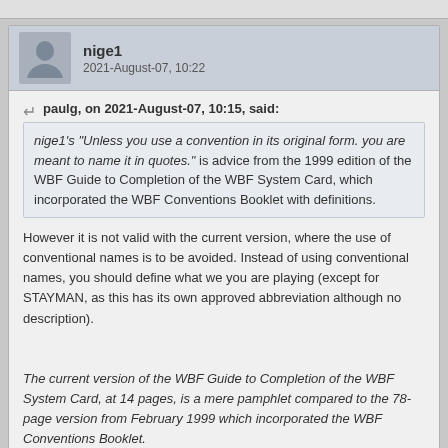nige1
2021-August-07, 10:22
paulg, on 2021-August-07, 10:15, said:
nige1's "Unless you use a convention in its original form. you are meant to name it in quotes." is advice from the 1999 edition of the WBF Guide to Completion of the WBF System Card, which incorporated the WBF Conventions Booklet with definitions.
However it is not valid with the current version, where the use of conventional names is to be avoided. Instead of using conventional names, you should define what we you are playing (except for STAYMAN, as this has its own approved abbreviation although no description).

The current version of the WBF Guide to Completion of the WBF System Card, at 14 pages, is a mere pamphlet compared to the 78-page version from February 1999 which incorporated the WBF Conventions Booklet.